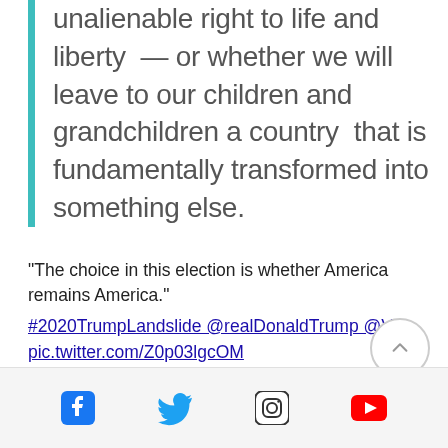unalienable right to life and liberty — or whether we will leave to our children and grandchildren a country that is fundamentally transformed into something else.
“The choice in this election is whether America remains America.” #2020TrumpLandslide @realDonaldTump @VP pic.twitter.com/Z0p03lgcOM
— DeplorableArmyBrat (@yogagenie) August 27, 2020
[Figure (infographic): Social media footer bar with Facebook, Twitter, Instagram, and YouTube icons]